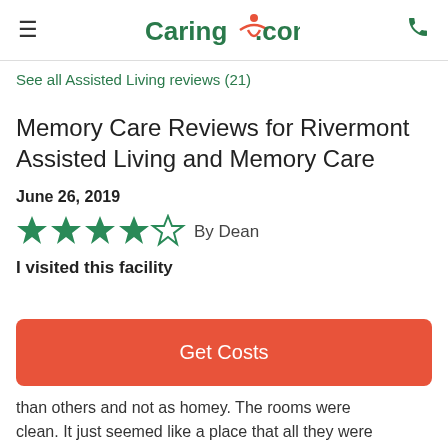Caring.com
See all Assisted Living reviews (21)
Memory Care Reviews for Rivermont Assisted Living and Memory Care
June 26, 2019
[Figure (other): 4 out of 5 stars rating, By Dean]
I visited this facility
Get Costs
than others and not as homey. The rooms were clean. It just seemed like a place that all they were